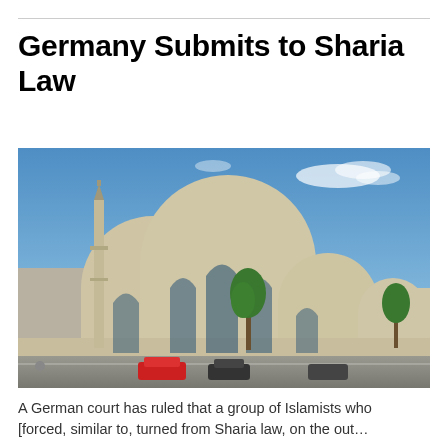Germany Submits to Sharia Law
[Figure (photo): Exterior photograph of a large modern mosque with a prominent tall minaret, large dome structures with arched glass windows, and a blue sky background. Cars and trees visible in the foreground at street level.]
A German court has ruled that a group of Islamists who [forced, similar to, turned from Sharia law, on the out...]